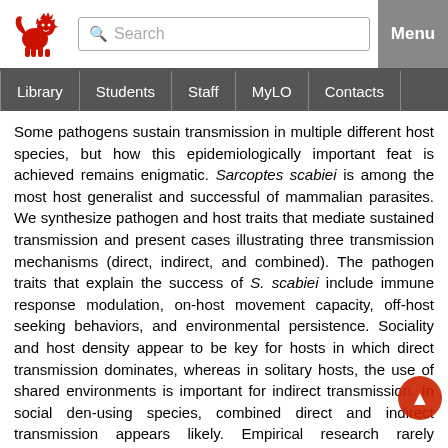[Figure (logo): University red lion logo]
Search | Menu
Library | Students | Staff | MyLO | Contacts
Some pathogens sustain transmission in multiple different host species, but how this epidemiologically important feat is achieved remains enigmatic. Sarcoptes scabiei is among the most host generalist and successful of mammalian parasites. We synthesize pathogen and host traits that mediate sustained transmission and present cases illustrating three transmission mechanisms (direct, indirect, and combined). The pathogen traits that explain the success of S. scabiei include immune response modulation, on-host movement capacity, off-host seeking behaviors, and environmental persistence. Sociality and host density appear to be key for hosts in which direct transmission dominates, whereas in solitary hosts, the use of shared environments is important for indirect transmission. In social den-using species, combined direct and indirect transmission appears likely. Empirical research rarely considers the mechanisms enabling S. scabiei to become endemic in host species—more often focusing on outbreaks. Our review may illuminate parasites' adaptation strategies to sustain transmission through varied mechanisms across host species.